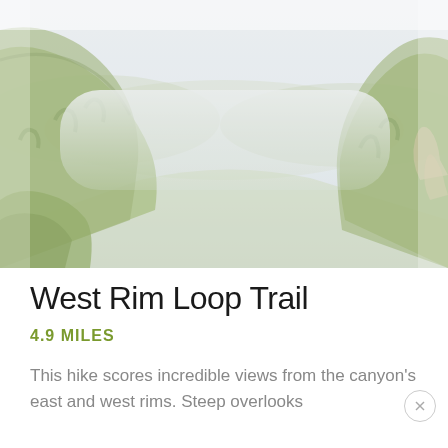[Figure (photo): Landscape photo showing a canyon with wooded hillsides on both sides, a valley below, and a pale hazy sky above. The image has a washed-out, faded appearance with muted greens and browns.]
West Rim Loop Trail
4.9 MILES
This hike scores incredible views from the canyon's east and west rims. Steep overlooks